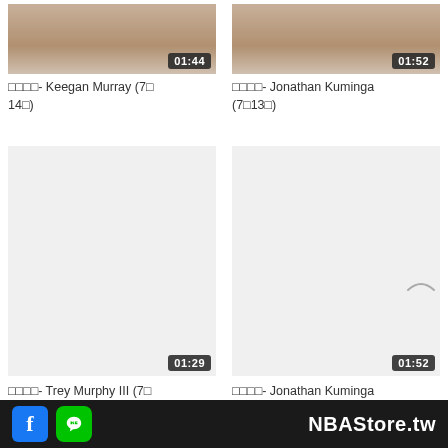[Figure (screenshot): Video thumbnail for Keegan Murray with duration badge 01:44]
□□□□- Keegan Murray (7□14□)
[Figure (screenshot): Video thumbnail for Jonathan Kuminga with duration badge 01:52]
□□□□- Jonathan Kuminga (7□13□)
[Figure (screenshot): Empty/loading video thumbnail for Trey Murphy III with duration badge 01:29]
□□□□- Trey Murphy III (7□12□)
[Figure (screenshot): Empty/loading video thumbnail for Jonathan Kuminga with duration badge 01:52]
□□□□- Jonathan Kuminga (7□11□)
[Figure (screenshot): Partial bottom thumbnail with duration badge 01:47]
[Figure (screenshot): Partial bottom thumbnail with duration badge 01:32]
NBAStore.tw